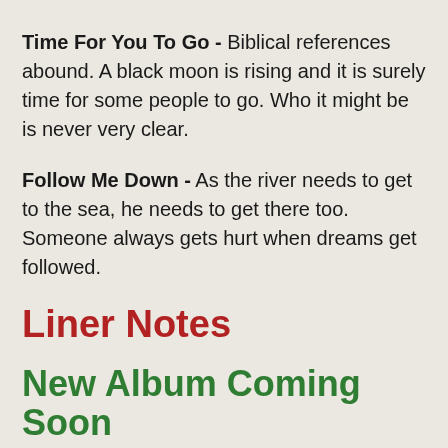Time For You To Go - Biblical references abound. A black moon is rising and it is surely time for some people to go. Who it might be is never very clear.
Follow Me Down - As the river needs to get to the sea, he needs to get there too. Someone always gets hurt when dreams get followed.
Liner Notes
New Album Coming Soon